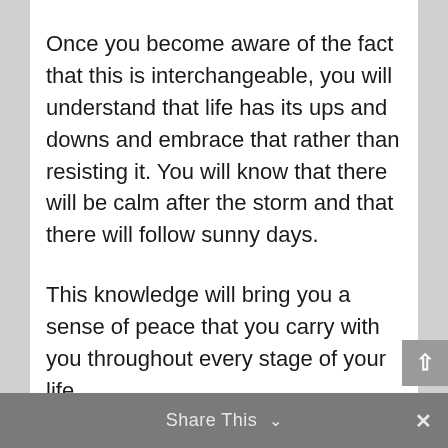Once you become aware of the fact that this is interchangeable, you will understand that life has its ups and downs and embrace that rather than resisting it. You will know that there will be calm after the storm and that there will follow sunny days.
This knowledge will bring you a sense of peace that you carry with you throughout every stage of your life.
Share This ∨  ×